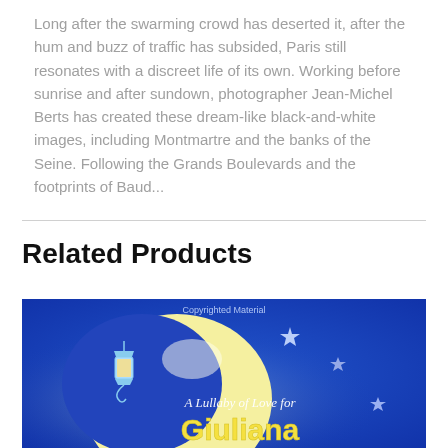Long after the swarming crowd has deserted it, after the hum and buzz of traffic has subsided, Paris still resonates with a discreet life of its own. Working before sunrise and after sundown, photographer Jean-Michel Berts has created these dream-like black-and-white images, including Montmartre and the banks of the Seine. Following the Grands Boulevards and the footprints of Baud...
Related Products
[Figure (illustration): Book cover illustration showing a yellow crescent moon against a dark blue night sky, with a decorative lantern, stars, and cursive text reading 'A Lullaby of Love for Giuliana'. The text 'Copyrighted Material' appears at the top center.]